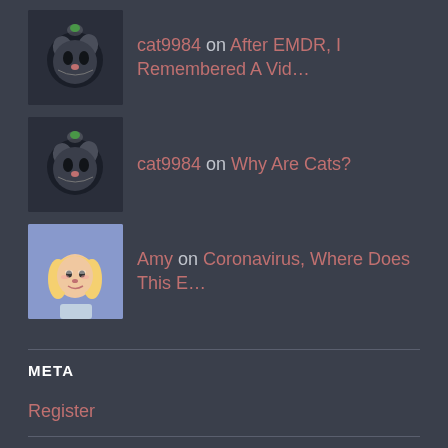cat9984 on After EMDR, I Remembered A Vid…
cat9984 on Why Are Cats?
Amy on Coronavirus, Where Does This E…
META
Register
Log in
Entries feed
Comments feed